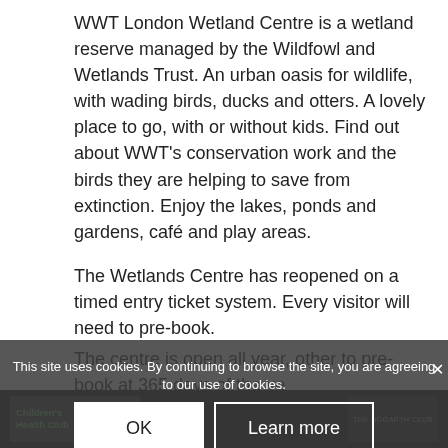WWT London Wetland Centre is a wetland reserve managed by the Wildfowl and Wetlands Trust. An urban oasis for wildlife, with wading birds, ducks and otters. A lovely place to go, with or without kids. Find out about WWT's conservation work and the birds they are helping to save from extinction. Enjoy the lakes, ponds and gardens, café and play areas.
The Wetlands Centre has reopened on a timed entry ticket system. Every visitor will need to pre-book.
The centre is open all year, other to pre-book at 365 days of the ye...
This site uses cookies. By continuing to browse the site, you are agreeing to our use of cookies.